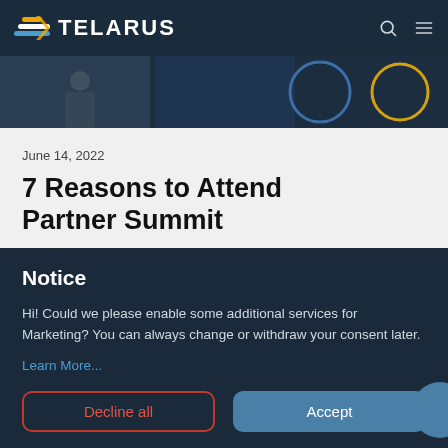TELARUS
[Figure (photo): Hero image strip showing people/event scenes for Partner Summit]
June 14, 2022
7 Reasons to Attend Partner Summit
Notice
Hi! Could we please enable some additional services for Marketing? You can always change or withdraw your consent later.
Learn More...
Decline all   Accept